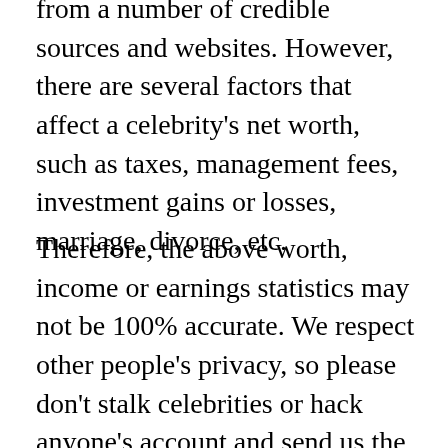from a number of credible sources and websites. However, there are several factors that affect a celebrity's net worth, such as taxes, management fees, investment gains or losses, marriage, divorce, etc.
Therefore, the above worth, income or earnings statistics may not be 100% accurate. We respect other people's privacy, so please don't stalk celebrities or hack anyone's account and send us the information – we will pretend not to know you. =)